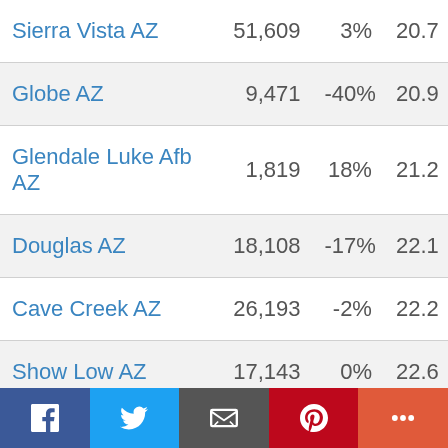| City | Population | Change | Value |
| --- | --- | --- | --- |
| Sierra Vista AZ | 51,609 | 3% | 20.7 |
| Globe AZ | 9,471 | -40% | 20.9 |
| Glendale Luke Afb AZ | 1,819 | 18% | 21.2 |
| Douglas AZ | 18,108 | -17% | 22.1 |
| Cave Creek AZ | 26,193 | -2% | 22.2 |
| Show Low AZ | 17,143 | 0% | 22.6 |
| Peridot AZ | 106 | -2915% | 22.9 |
| Tucson AZ | 878,950 | 0% | 22.9 |
| Sedona AZ | 18,420 | 4% | 23.1 |
| Bylas AZ |  | 0% | 23.4 |